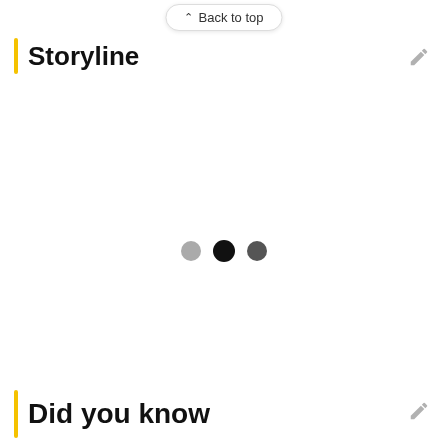Back to top
Storyline
[Figure (other): Three loading dots (gray, black, dark gray) indicating content loading in the Storyline section]
Did you know